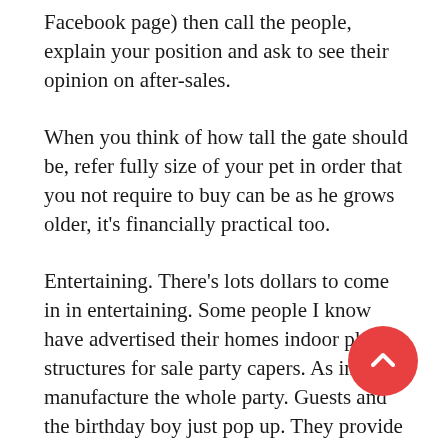Facebook page) then call the people, explain your position and ask to see their opinion on after-sales.
When you think of how tall the gate should be, refer fully size of your pet in order that you not require to buy can be as he grows older, it's financially practical too.
Entertaining. There's lots dollars to come in in entertaining. Some people I know have advertised their homes indoor play structures for sale party capers. As in, they manufacture the whole party. Guests and the birthday boy just pop up. They provide the entertainment and move everything along. https://locationsnearmenow.com/ and it's a good side business.
Roberts Stanes initially mount the school for Anglo Indians and Europeans solely. However he later changed it and opened its doors to just about anybody irrespective of religion and race. Thus Indians also started getting admissions for this school. Mastering